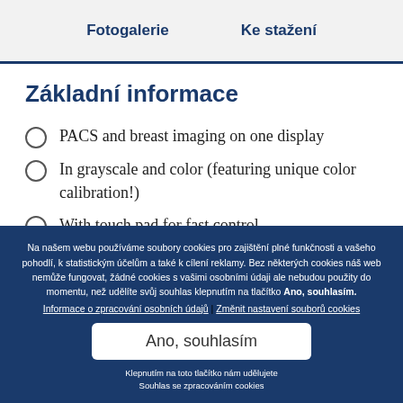Fotogalerie  Ke stažení
Základní informace
PACS and breast imaging on one display
In grayscale and color (featuring unique color calibration!)
With touch pad for fast control
Na našem webu používáme soubory cookies pro zajištění plné funkčnosti a vašeho pohodlí, k statistickým účelům a také k cílení reklamy. Bez některých cookies náš web nemůže fungovat, žádné cookies s vašimi osobními údaji ale nebudou použity do momentu, než udělíte svůj souhlas klepnutím na tlačítko Ano, souhlasím. Informace o zpracování osobních údajů | Změnit nastavení souborů cookies
Ano, souhlasím
Klepnutím na toto tlačítko nám udělujete Souhlas se zpracováním cookies